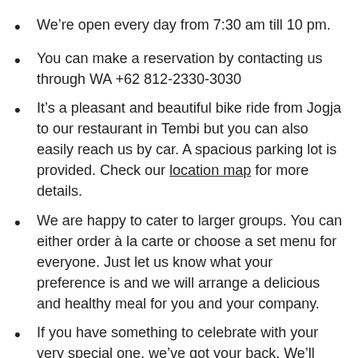We're open every day from 7:30 am till 10 pm.
You can make a reservation by contacting us through WA +62 812-2330-3030
It's a pleasant and beautiful bike ride from Jogja to our restaurant in Tembi but you can also easily reach us by car. A spacious parking lot is provided. Check our location map for more details.
We are happy to cater to larger groups. You can either order à la carte or choose a set menu for everyone. Just let us know what your preference is and we will arrange a delicious and healthy meal for you and your company.
If you have something to celebrate with your very special one, we've got your back. We'll create a special romantic setting so your dinner will be one you'll never forget.